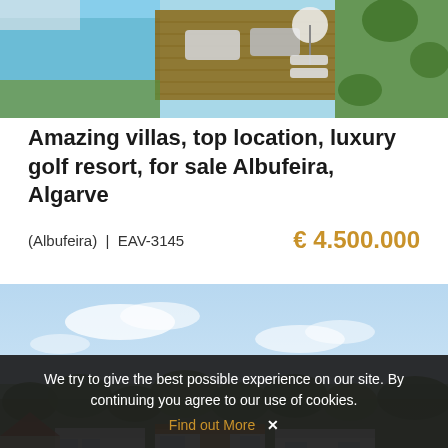[Figure (photo): Aerial view of a luxury villa with pool, wooden deck, sun loungers, umbrella, and cars parked nearby, surrounded by green lawn and trees.]
Amazing villas, top location, luxury golf resort, for sale Albufeira, Algarve
(Albufeira) | EAV-3145   € 4.500.000
[Figure (photo): Aerial/elevated view of luxury modern villas and houses among dense green trees with a blue sky and clouds in the background, Albufeira, Algarve.]
We try to give the best possible experience on our site. By continuing you agree to our use of cookies. Find out More ✕